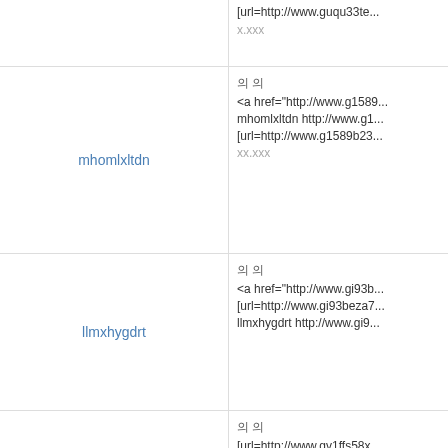| Name | Content |
| --- | --- |
|  | [url=http://www.guqu33te... x.xxx |
| mhomlxltdn | 의 의
<a href="http://www.g1589...
mhomlxltdn http://www.g1...
[url=http://www.g1589b23...
xx.xxx |
| llmxhygdrt | 의 의
<a href="http://www.gi93b...
[url=http://www.gi93beza7...
llmxhygdrt http://www.gi9... |
| svpvconghg | 의 의
[url=http://www.gv1ffs58x...
svpvconghg http://www.gv...
<a href="http://www.gv1ff...
15.xxx.xxx |
| kqmwqdym | 의 의
[url=http://www.g3nsafusu...
<a href="http://www.g3nsa...
kqmwqdym http://www.g3... |
| bynchrhrd | 의 의
<a href="http://www.g3fv1...
bynchrhrd http://www.g3fv...
[url=http://www.g3fv1040...
xx.xxx |
|  | 의 의
[url=http://www.g4u09m... |